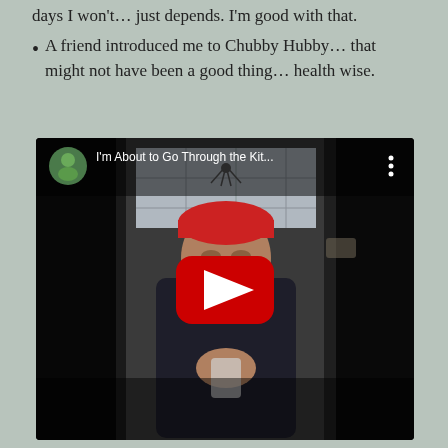days I won't... just depends. I'm good with that.
A friend introduced me to Chubby Hubby... that might not have been a good thing... health wise.
[Figure (screenshot): YouTube video thumbnail showing a bearded man wearing a red beanie and dark hoodie, indoors. Video title reads 'I'm About to Go Through the Kit...' with a red YouTube play button overlay and a circular avatar in top left corner.]